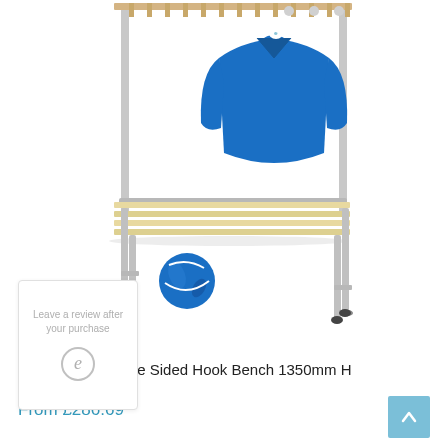[Figure (photo): A round tube single sided hook bench with wooden slats and metal frame, with a blue jacket hanging on the top rail hooks and a blue ball on the floor beneath.]
Leave a review after your purchase
Round Tube Single Sided Hook Bench 1350mm H
From £286.69